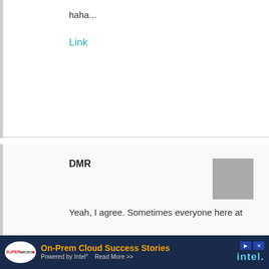haha...
Link
DMR
Yeah, I agree. Sometimes everyone here at DW analyses WHY a particular letter writer included certain facts. (and often, to my mind, draw erroneous conclusions). Usually, it's simply because they're making an effort to paint as complete and honest a picture as they can.
[Figure (other): Advertisement banner: On-Prem Cloud Success Stories, Powered by Intel, featuring Supermicro and Intel logos]